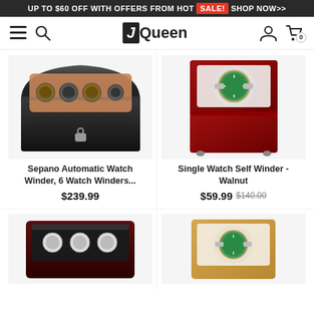UP TO $60 OFF WITH OFFERS FROM HOT SALE! SHOP NOW>>
[Figure (logo): JQueen brand logo with hamburger menu, search icon, user icon, and cart icon in navigation bar]
[Figure (photo): Sepano Automatic Watch Winder, 6 Watch Winders, black box with glass top showing multiple watch winders inside on orange cushions]
Sepano Automatic Watch Winder, 6 Watch Winders...
$239.99
[Figure (photo): Single Watch Self Winder - Walnut, red/cherry wood box with glass window showing a green dial Rolex watch]
Single Watch Self Winder - Walnut
$59.99 $140.00
[Figure (photo): Dark cherry/burgundy watch winder box showing multiple watches inside]
[Figure (photo): Light wood/maple single watch winder with glass window showing green dial Rolex watch]